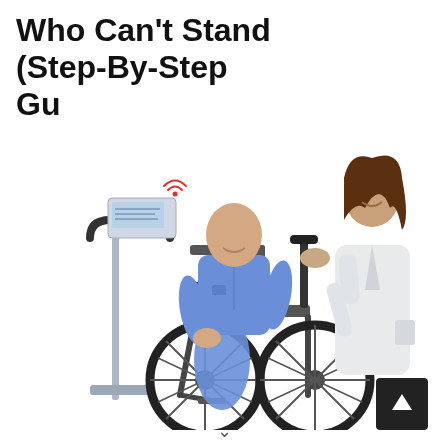Who Can't Stand (Step-By-Step Guide)
[Figure (photo): A healthcare professional in a white lab coat pushes a man in a wheelchair who is wearing blue hospital scrubs. To the left is a medical weighing scale with a digital display and handlebar, featuring a wireless indicator symbol. The background is white.]